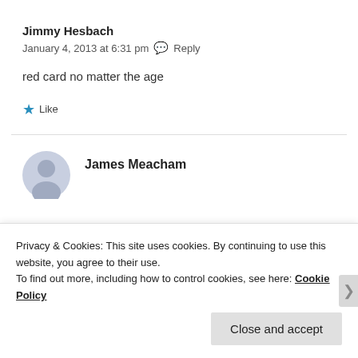Jimmy Hesbach
January 4, 2013 at 6:31 pm  Reply
red card no matter the age
Like
James Meacham
Privacy & Cookies: This site uses cookies. By continuing to use this website, you agree to their use.
To find out more, including how to control cookies, see here: Cookie Policy
Close and accept